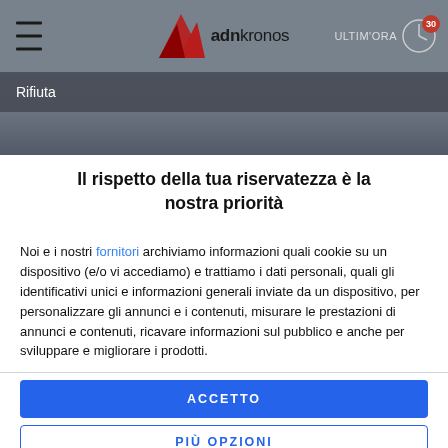adnkronos — ULTIM'ORA
Rifiuta
Il rispetto della tua riservatezza è la nostra priorità
Noi e i nostri fornitori archiviamo informazioni quali cookie su un dispositivo (e/o vi accediamo) e trattiamo i dati personali, quali gli identificativi unici e informazioni generali inviate da un dispositivo, per personalizzare gli annunci e i contenuti, misurare le prestazioni di annunci e contenuti, ricavare informazioni sul pubblico e anche per sviluppare e migliorare i prodotti.
ACCETTO
PIÙ OPZIONI